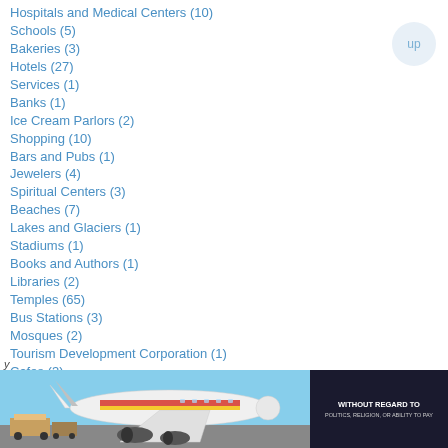Hospitals and Medical Centers (10)
Schools (5)
Bakeries (3)
Hotels (27)
Services (1)
Banks (1)
Ice Cream Parlors (2)
Shopping (10)
Bars and Pubs (1)
Jewelers (4)
Spiritual Centers (3)
Beaches (7)
Lakes and Glaciers (1)
Stadiums (1)
Books and Authors (1)
Libraries (2)
Temples (65)
Bus Stations (3)
Mosques (2)
Tourism Development Corporation (1)
Cafes (3)
Multi Cuisine Restaurants (10)
Tourist Destinations (2)
Chinese and Japanese Restaurants (1)
Museums and Archives (6)
Trains and Railway Stations (31)
Churches (7)
Organizations (14)
Travel Guides (1)
[Figure (photo): Advertisement banner showing cargo airplane being loaded, with text WITHOUT REGARD TO POLITICS, RELIGION, OR ABILITY TO PAY on dark background]